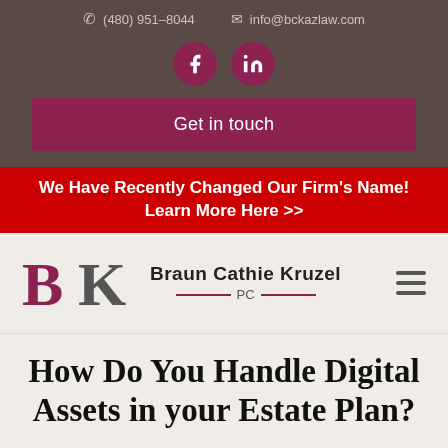(480) 951-8044   info@bckazlaw.com
[Figure (logo): Social media icons: Facebook and LinkedIn circles in maroon]
Get in touch
We Have Recently Changed Our Firm's Name! Learn More Here >>
[Figure (logo): Braun Cathie Kruzel PC law firm logo with BK monogram in maroon and grey]
How Do You Handle Digital Assets in your Estate Plan?